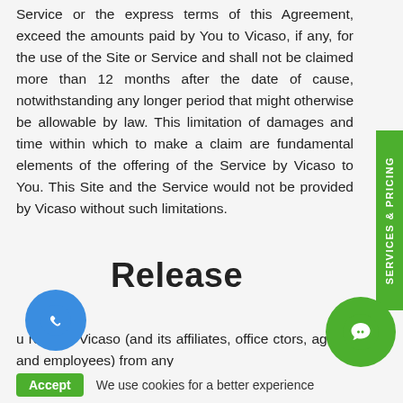Service or the express terms of this Agreement, exceed the amounts paid by You to Vicaso, if any, for the use of the Site or Service and shall not be claimed more than 12 months after the date of cause, notwithstanding any longer period that might otherwise be allowable by law. This limitation of damages and time within which to make a claim are fundamental elements of the offering of the Service by Vicaso to You. This Site and the Service would not be provided by Vicaso without such limitations.
Release
u release Vicaso (and its affiliates, office ctors, agents and employees) from any
[Figure (other): Green vertical sidebar tab with text 'SERVICES & PRICING' rotated 90 degrees]
[Figure (other): Blue circular phone/call button with phone icon]
[Figure (other): Green circular chat button with speech bubble icon]
Accept   We use cookies for a better experience